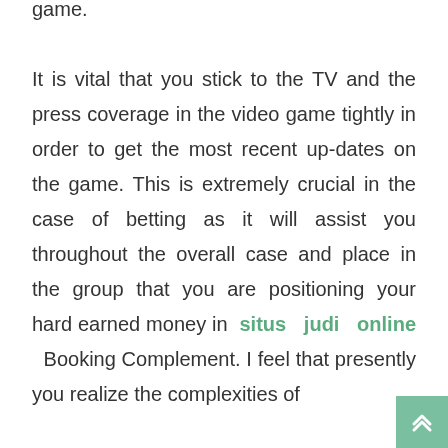game. It is vital that you stick to the TV and the press coverage in the video game tightly in order to get the most recent up-dates on the game. This is extremely crucial in the case of betting as it will assist you throughout the overall case and place in the group that you are positioning your hard earned money in situs judi online Booking Complement. I feel that presently you realize the complexities of